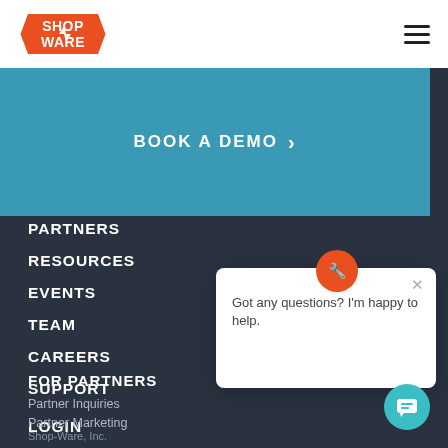[Figure (logo): Shop-Ware logo in orange hexagon badge shape with white text]
[Figure (other): Hamburger menu icon (three horizontal lines)]
BOOK A DEMO ›
PARTNERS
RESOURCES
EVENTS
TEAM
CAREERS
SUPPORT
LOGIN
FOR PARTNERS
Partner Inquiries
Partner Marketing
[Figure (other): Shop-Ware wrench icon in orange circle - chat widget icon]
Got any questions? I'm happy to help.
[Figure (other): Teal circular chat button with chat bubble icon]
Shop-Ware, Inc.